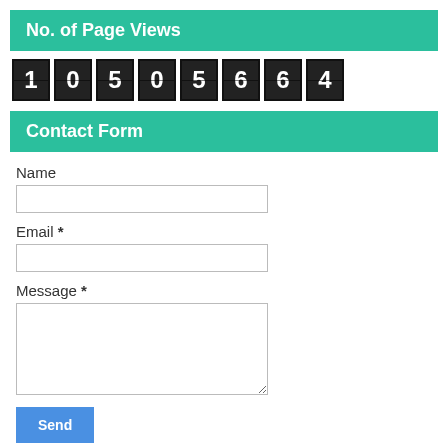No. of Page Views
[Figure (other): Digital counter showing the number 1050564 with individual digit flip-clock style boxes: 1, 0, 5, 0, 5, 6, 6, 4]
Contact Form
Name
Email *
Message *
Send